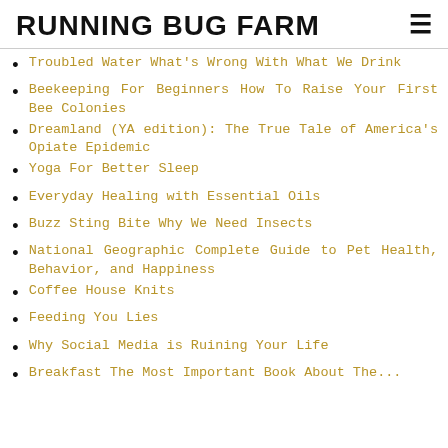RUNNING BUG FARM
Troubled Water What's Wrong With What We Drink
Beekeeping For Beginners How To Raise Your First Bee Colonies
Dreamland (YA edition): The True Tale of America's Opiate Epidemic
Yoga For Better Sleep
Everyday Healing with Essential Oils
Buzz Sting Bite Why We Need Insects
National Geographic Complete Guide to Pet Health, Behavior, and Happiness
Coffee House Knits
Feeding You Lies
Why Social Media is Ruining Your Life
Breakfast The Most Important Book About The...